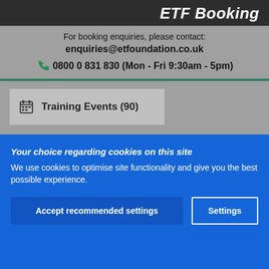ETF Booking
For booking enquiries, please contact:
enquiries@etfoundation.co.uk
0800 0 831 830 (Mon - Fri 9:30am - 5pm)
Training Events (90)
Flexible Learning (31)
Your choice regarding cookies on this site
We use cookies to optimise site functionality and give you the best possible experience.
Accept recommended settings
Settings